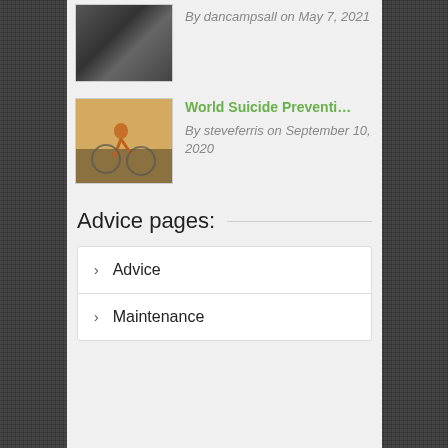[Figure (photo): Close-up of a bicycle tire on gravel/road surface]
By dancampsall on May 7, 2021
[Figure (photo): Person with a bicycle in a golden field at sunset]
World Suicide Preventi…
By steveferris on September 10, 2020
Advice pages:
Advice
Maintenance